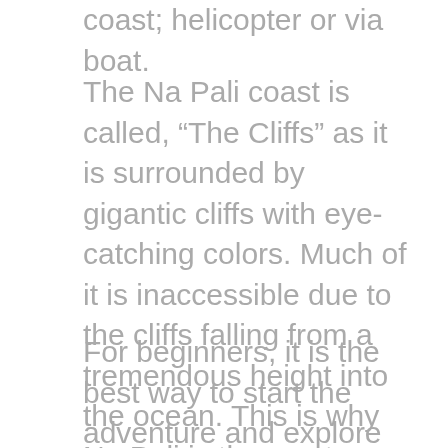coast; helicopter or via boat.
The Na Pali coast is called, “The Cliffs” as it is surrounded by gigantic cliffs with eye-catching colors. Much of it is inaccessible due to the cliffs falling from a tremendous height into the ocean. This is why Na Pali is the most beautiful and alluring coastline in Hawaii.
For beginners, it is the best way to start the adventure and explore their new hobby with friendly dolphins on a lovely day in